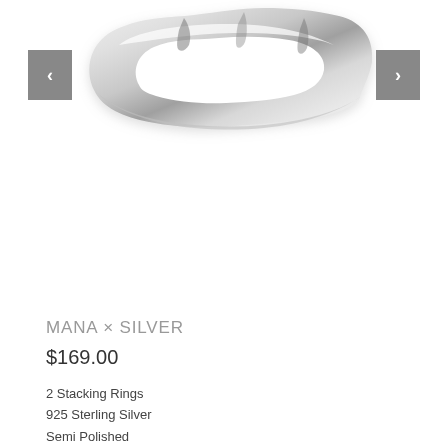[Figure (photo): A silver stacking ring with organic, wavy, semi-polished surface photographed on white background, showing top portion of the ring.]
MANA × SILVER
$169.00
2 Stacking Rings
925 Sterling Silver
Semi Polished